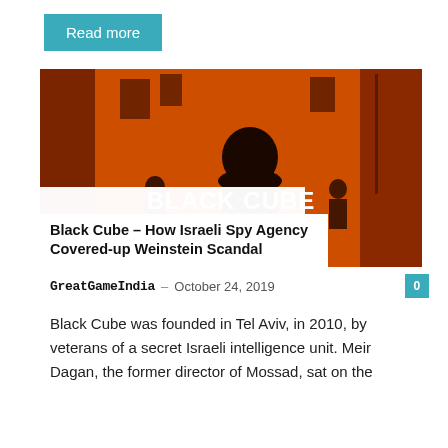Read more
[Figure (illustration): Orange-toned illustration showing silhouettes of figures in an urban setting with text overlay: BLACK CUBE – How Israeli Spy Agency Covered-up Weinstein Scandal]
Black Cube – How Israeli Spy Agency Covered-up Weinstein Scandal
GreatGameIndia – October 24, 2019
Black Cube was founded in Tel Aviv, in 2010, by veterans of a secret Israeli intelligence unit. Meir Dagan, the former director of Mossad, sat on the